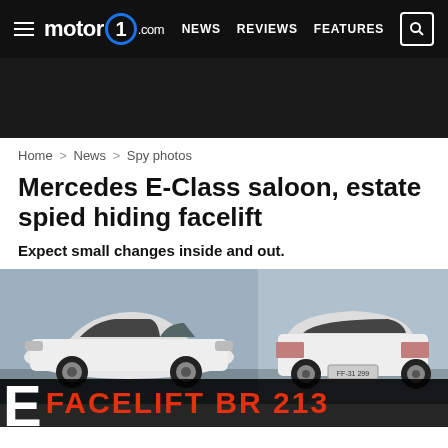motor1.com — NEWS  REVIEWS  FEATURES
[Figure (photo): Dark advertisement banner area]
Home > News > Spy photos
Mercedes E-Class saloon, estate spied hiding facelift
Expect small changes inside and out.
[Figure (photo): Two spy photos of white Mercedes E-Class saloon, left side profile and right rear three-quarter view, with overlay banner reading E FACELIFT BR 213]
E FACELIFT BR 213